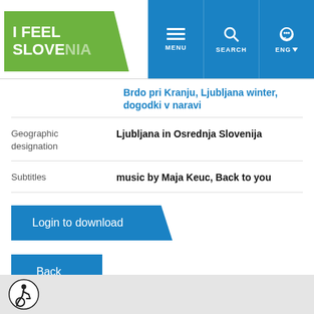[Figure (logo): I Feel Slovenia logo — green diagonal shape with white text 'I FEEL SLOV[E]NIA']
[Figure (screenshot): Navigation bar with blue background showing menu, search, and ENG buttons]
Brdo pri Kranju, Ljubljana winter, dogodki v naravi
| Label | Value |
| --- | --- |
| Geographic designation | Ljubljana in Osrednja Slovenija |
| Subtitles | music by Maja Keuc, Back to you |
Login to download
Back
[Figure (illustration): Wheelchair accessibility icon — person in wheelchair in black circle]